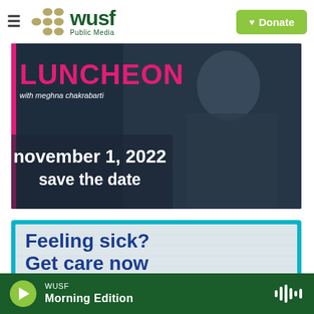WUSF Public Media
[Figure (photo): Promotional banner for WUSF Luncheon with Meghna Chakrabarti, showing woman in dark blazer against dark background with text: LUNCHEON with meghna chakrabarti, november 1, 2022, save the date]
[Figure (photo): Advertisement with cyan border and light blue/grey background showing text: Feeling sick? Get care now]
WUSF Morning Edition (audio player bar)